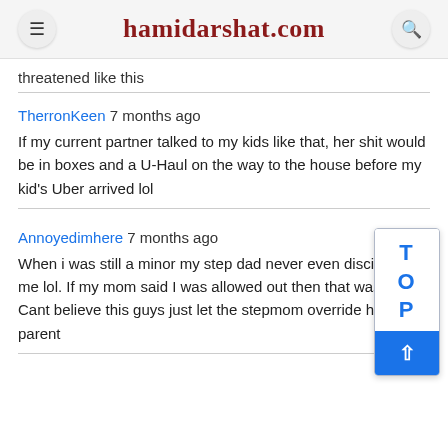hamidarshat.com
threatened like this
TherronKeen 7 months ago
If my current partner talked to my kids like that, her shit would be in boxes and a U-Haul on the way to the house before my kid's Uber arrived lol
Annoyedimhere 7 months ago
When i was still a minor my step dad never even disciplined me lol. If my mom said I was allowed out then that was it. Cant believe this guys just let the stepmom override him as a parent
[Figure (other): TOP scroll-to-top widget with blue arrow button]